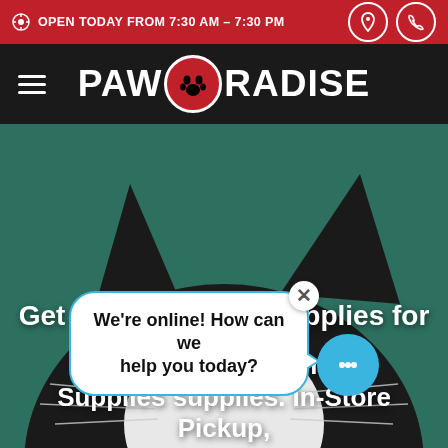OPEN TODAY FROM 7:30 AM - 7:30 PM
PAWORADISE
[Figure (photo): Black and white cat peeking up from below against a teal/green background, hero image for the Paworadise pet store website]
Get Cat Grooming Supplies for C...
The Best An... om Supplies supplies. In-Store Pickup,
We're online! How can we help you today?